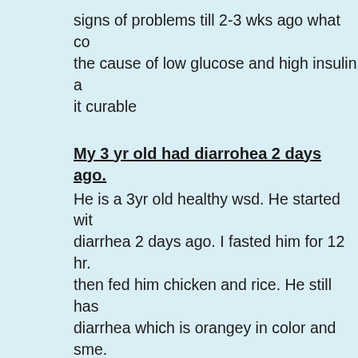signs of problems till 2-3 wks ago what could be the cause of low glucose and high insulin and is it curable
My 3 yr old had diarrohea 2 days ago.
He is a 3yr old healthy wsd. He started with diarrhea 2 days ago. I fasted him for 12 hr. then fed him chicken and rice. He still has diarrhea which is orangey in color and sme. Should I go to my vet or is there anything e can do ?
Diarreah and Constipation
I have a 7 year old Lhasa Apso who had b having diarrhea on and off for a couple of months and then consistently for about 2 w. Now she is constipated but when she does